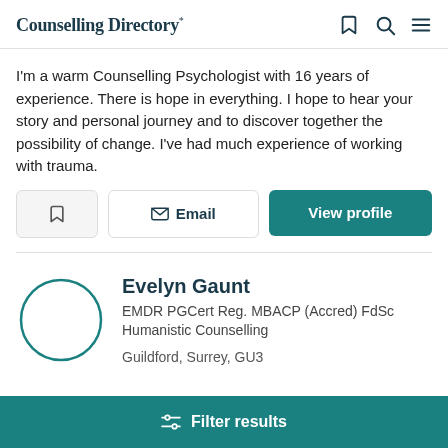Counselling Directory*
I'm a warm Counselling Psychologist with 16 years of experience. There is hope in everything. I hope to hear your story and personal journey and to discover together the possibility of change. I've had much experience of working with trauma.
[Figure (screenshot): Action buttons: bookmark/save icon button, Email button with envelope icon, View profile button (teal)]
[Figure (photo): Circular profile avatar placeholder for Evelyn Gaunt, outlined circle with teal border]
Evelyn Gaunt
EMDR PGCert Reg. MBACP (Accred) FdSc Humanistic Counselling
Guildford, Surrey, GU3
Filter results